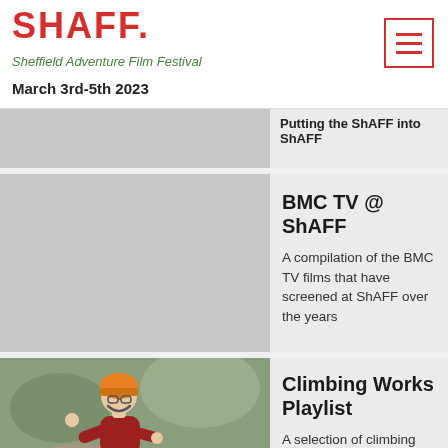ShAFF. Sheffield Adventure Film Festival March 3rd-5th 2023
Putting the ShAFF into ShAFF
BMC TV @ ShAFF
A compilation of the BMC TV films that have screened at ShAFF over the years
[Figure (photo): A climber wearing an orange helmet laughing while climbing rocks outdoors]
Climbing Works Playlist
A selection of climbing films that have played at ShAFF over the years
Young Adventurers - a Family